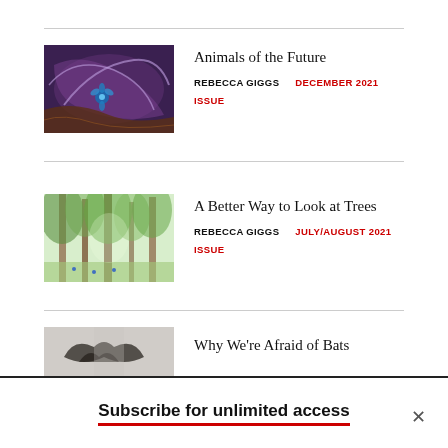[Figure (illustration): Artistic illustration with purple/blue swirling forms and a blue flower, dark cosmic background]
Animals of the Future
REBECCA GIGGS   DECEMBER 2021 ISSUE
[Figure (illustration): Forest scene painting with tall trees, green foliage, soft light]
A Better Way to Look at Trees
REBECCA GIGGS   JULY/AUGUST 2021 ISSUE
[Figure (photo): Partial image showing dark silhouettes, bats implied]
Why We're Afraid of Bats
Subscribe for unlimited access